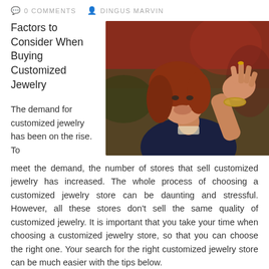0 COMMENTS   DINGUS MARVIN
Factors to Consider When Buying Customized Jewelry
[Figure (photo): A smiling red-haired woman holding up her hand showing a ring on her finger, wearing a dark jacket and gold bracelet, with a blurred red/green background.]
The demand for customized jewelry has been on the rise. To meet the demand, the number of stores that sell customized jewelry has increased. The whole process of choosing a customized jewelry store can be daunting and stressful. However, all these stores don't sell the same quality of customized jewelry. It is important that you take your time when choosing a customized jewelry store, so that you can choose the right one. Your search for the right customized jewelry store can be much easier with the tips below.